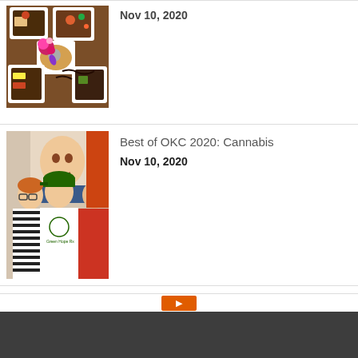[Figure (photo): Overhead shot of multiple white plates with food dishes on a wooden table, with colorful flowers and garnishes]
Nov 10, 2020
[Figure (photo): Three people standing together in front of a framed portrait; center person wearing a green cap and white t-shirt with 'Green Hope Rx' logo]
Best of OKC 2020: Cannabis
Nov 10, 2020